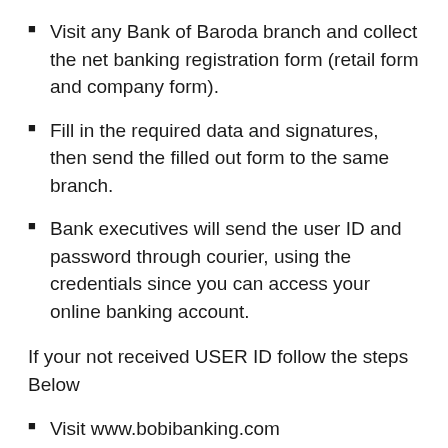Visit any Bank of Baroda branch and collect the net banking registration form (retail form and company form).
Fill in the required data and signatures, then send the filled out form to the same branch.
Bank executives will send the user ID and password through courier, using the credentials since you can access your online banking account.
If your not received USER ID follow the steps Below
Visit www.bobibanking.com
Select Retail User Profile
A new page opens for entering user ID. Click